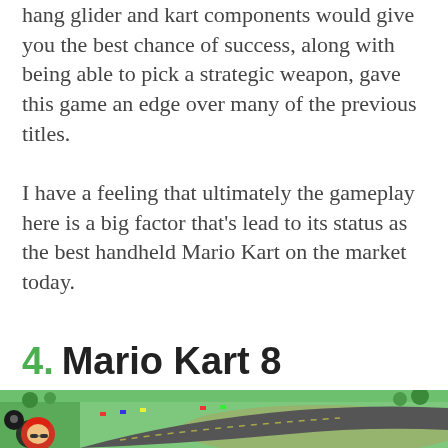hang glider and kart components would give you the best chance of success, along with being able to pick a strategic weapon, gave this game an edge over many of the previous titles.
I have a feeling that ultimately the gameplay here is a big factor that's lead to its status as the best handheld Mario Kart on the market today.
4. Mario Kart 8
[Figure (screenshot): Screenshot of Mario Kart 8 gameplay showing an aerial view of a racing track with colorful karts and lush green scenery. A character with a red cap and sunglasses is visible in the bottom left corner UI element.]